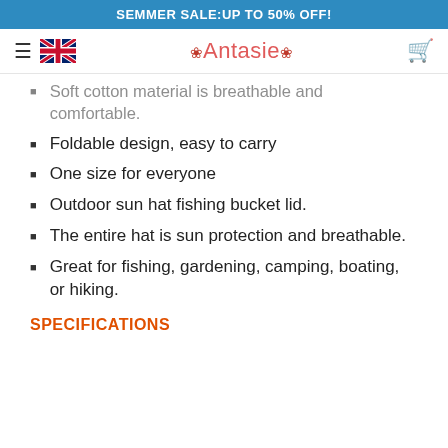SEMMER SALE:UP TO 50% OFF!
Antasie (logo with UK flag, hamburger menu, cart)
Soft cotton material is breathable and comfortable.
Foldable design, easy to carry
One size for everyone
Outdoor sun hat fishing bucket lid.
The entire hat is sun protection and breathable.
Great for fishing, gardening, camping, boating, or hiking.
SPECIFICATIONS